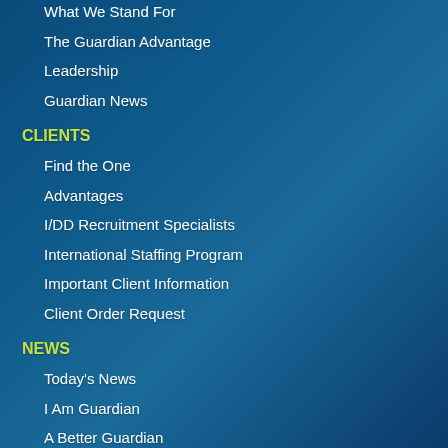What We Stand For
The Guardian Advantage
Leadership
Guardian News
CLIENTS
Find the One
Advantages
I/DD Recruitment Specialists
International Staffing Program
Important Client Information
Client Order Request
NEWS
Today's News
I Am Guardian
A Better Guardian
Guardian Stories
Joe's Corner